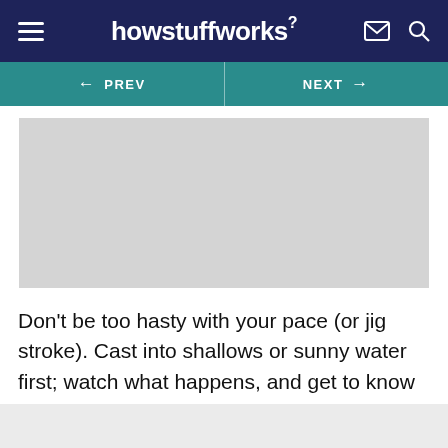howstuffworks
[Figure (screenshot): Navigation bar with PREV and NEXT buttons on teal background]
[Figure (photo): Light gray placeholder image area]
Don't be too hasty with your pace (or jig stroke). Cast into shallows or sunny water first; watch what happens, and get to know the motion of your lure.